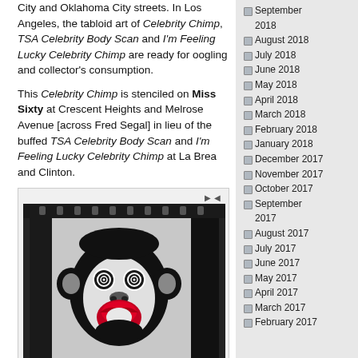City and Oklahoma City streets. In Los Angeles, the tabloid art of Celebrity Chimp, TSA Celebrity Body Scan and I'm Feeling Lucky Celebrity Chimp are ready for oogling and collector's consumption.
This Celebrity Chimp is stenciled on Miss Sixty at Crescent Heights and Melrose Avenue [across Fred Segal] in lieu of the buffed TSA Celebrity Body Scan and I'm Feeling Lucky Celebrity Chimp at La Brea and Clinton.
[Figure (photo): Street art stencil of a chimpanzee face with swirly eyes and red lips on a light-colored wall/surface, photographed from close range, with dark border and contact sheet style presentation.]
September 2018
August 2018
July 2018
June 2018
May 2018
April 2018
March 2018
February 2018
January 2018
December 2017
November 2017
October 2017
September 2017
August 2017
July 2017
June 2017
May 2017
April 2017
March 2017
February 2017